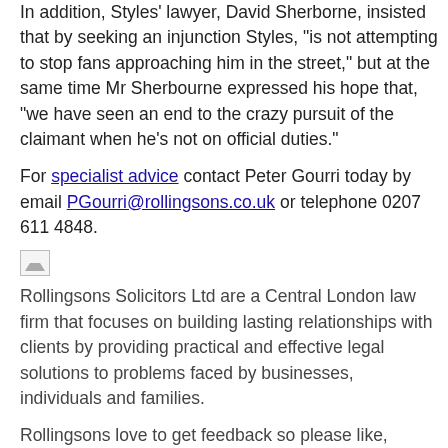In addition, Styles' lawyer, David Sherborne, insisted that by seeking an injunction Styles, "is not attempting to stop fans approaching him in the street," but at the same time Mr Sherbourne expressed his hope that, "we have seen an end to the crazy pursuit of the claimant when he's not on official duties."
For specialist advice contact Peter Gourri today by email PGourri@rollingsons.co.uk or telephone 0207 611 4848.
[Figure (photo): Small broken image icon placeholder]
Rollingsons Solicitors Ltd are a Central London law firm that focuses on building lasting relationships with clients by providing practical and effective legal solutions to problems faced by businesses, individuals and families.
Rollingsons love to get feedback so please like, comment, +1 or share if you found it useful.
Posted by Rollingsons Solicitors Ltd at 08:15 04/04/2014
Labels: LitigationAndInsolvency, ServicesForYou